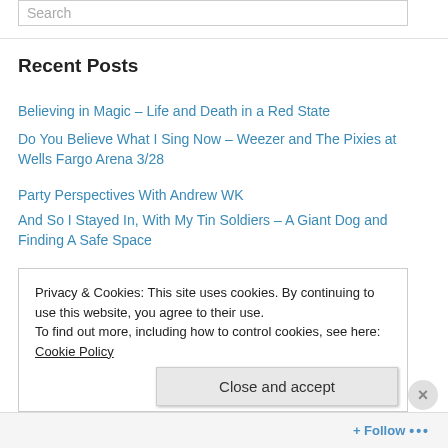Search
Recent Posts
Believing in Magic – Life and Death in a Red State
Do You Believe What I Sing Now – Weezer and The Pixies at Wells Fargo Arena 3/28
Party Perspectives With Andrew WK
And So I Stayed In, With My Tin Soldiers – A Giant Dog and Finding A Safe Space
The Fool on the Hill – Hinterland 2016
Privacy & Cookies: This site uses cookies. By continuing to use this website, you agree to their use. To find out more, including how to control cookies, see here: Cookie Policy
Close and accept
Follow